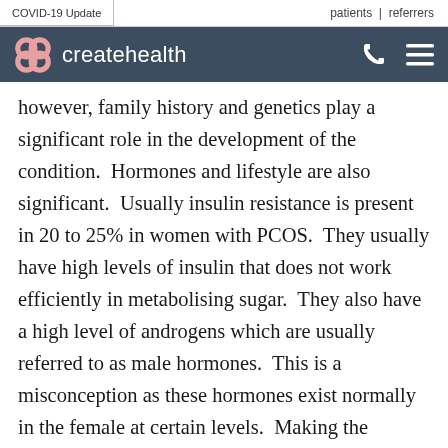COVID-19 Update | patients | referrers
[Figure (logo): createhealth logo with decorative icon on dark navy header bar]
however, family history and genetics play a significant role in the development of the condition.  Hormones and lifestyle are also significant.  Usually insulin resistance is present in 20 to 25% in women with PCOS.  They usually have high levels of insulin that does not work efficiently in metabolising sugar.  They also have a high level of androgens which are usually referred to as male hormones.  This is a misconception as these hormones exist normally in the female at certain levels.  Making the diagnosis of PCOS can be confusing and challenging to patients and sometimes to medical practitioners.  The description of the ovaries on ultrasound can also be a little confusing. I use…and to be diagnosed